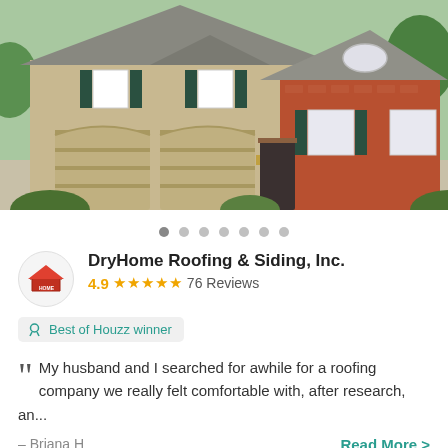[Figure (photo): Exterior photo of a two-story house with tan/beige siding, dark teal shutters, two-car garage, brick facade on the right side, and a gray shingled roof.]
• • • • • • •  (carousel dots)
DryHome Roofing & Siding, Inc.
4.9 ★★★★★ 76 Reviews
🏆 Best of Houzz winner
My husband and I searched for awhile for a roofing company we really felt comfortable with, after research, an...
– Briana H
Read More >